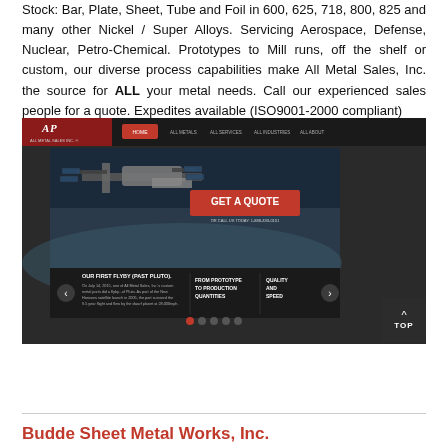Stock: Bar, Plate, Sheet, Tube and Foil in 600, 625, 718, 800, 825 and many other Nickel / Super Alloys. Servicing Aerospace, Defense, Nuclear, Petro-Chemical. Prototypes to Mill runs, off the shelf or custom, our diverse process capabilities make All Metal Sales, Inc. the source for ALL your metal needs. Call our experienced sales people for a quote. Expedites available (ISO9001-2000 compliant)
[Figure (screenshot): Screenshot of All Metal Sales, Inc. website showing a navigation bar with HOME, ALL METALS, ALL SERVICES, ALL INDUSTRIES, ALL ABOUT tabs, a large hero image of the International Space Station with 'GET A QUOTE' button and 'OR CALL US TODAY: 1-888-333-0101' text, a carousel section titled 'OUR FIRST FLYBY (PAST PLUTO).' with a description, and bottom banners reading 'FROM PROTOTYPE TO PRODUCTION QUANTITIES' and 'QUALITY AND SPEED'.]
Budde Sheet Metal Works, Inc.